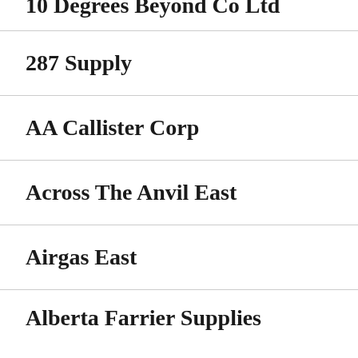10 Degrees Beyond Co Ltd
287 Supply
AA Callister Corp
Across The Anvil East
Airgas East
Alberta Farrier Supplies